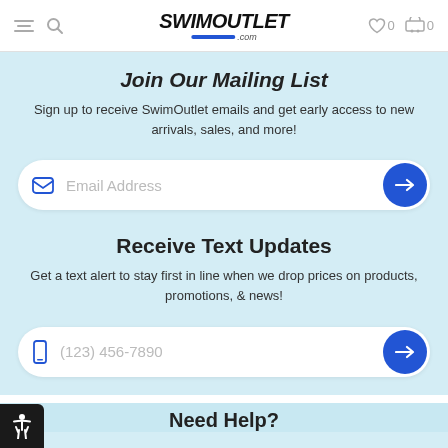SwimOutlet.com — Navigation header with hamburger menu, search, logo, wishlist (0), cart (0)
Join Our Mailing List
Sign up to receive SwimOutlet emails and get early access to new arrivals, sales, and more!
[Figure (screenshot): Email address input field with envelope icon and blue arrow submit button]
Receive Text Updates
Get a text alert to stay first in line when we drop prices on products, promotions, & news!
[Figure (screenshot): Phone number input field with phone icon and blue arrow submit button, placeholder (123) 456-7890]
Need Help?